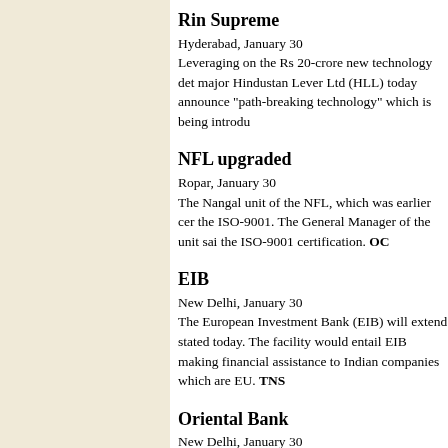Rin Supreme
Hyderabad, January 30
Leveraging on the Rs 20-crore new technology det major Hindustan Lever Ltd (HLL) today announce “path-breaking technology” which is being introdu
NFL upgraded
Ropar, January 30
The Nangal unit of the NFL, which was earlier cer the ISO-9001. The General Manager of the unit sai the ISO-9001 certification. OC
EIB
New Delhi, January 30
The European Investment Bank (EIB) will extend stated today. The facility would entail EIB making financial assistance to Indian companies which are EU. TNS
Oriental Bank
New Delhi, January 30
Oriental Bank of Commerce today decided to slash to make it cheaper than that offered by major playe Bank. The bank reduced the floating rates for a 5-y line with the soft interest regime prevailing in the c
Navision India